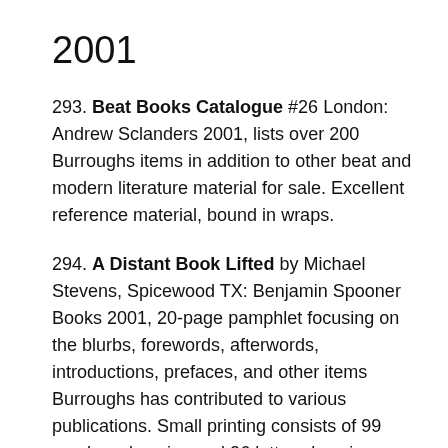2001
293. Beat Books Catalogue #26 London: Andrew Sclanders 2001, lists over 200 Burroughs items in addition to other beat and modern literature material for sale. Excellent reference material, bound in wraps.
294. A Distant Book Lifted by Michael Stevens, Spicewood TX: Benjamin Spooner Books 2001, 20-page pamphlet focusing on the blurbs, forewords, afterwords, introductions, prefaces, and other items Burroughs has contributed to various publications. Small printing consists of 99 numbered copies and 26 lettered copies bound in wraps. This is one of 5 copies hardbound by Don